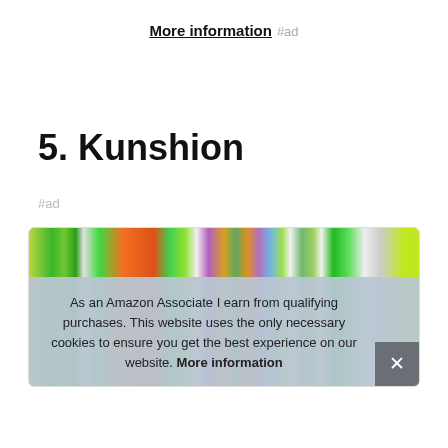More information #ad
5. Kunshion
#ad
[Figure (photo): Product image strip showing colorful fidget toys and sensory items including rings, spinners, and keychains in green, orange, purple, and other colors]
As an Amazon Associate I earn from qualifying purchases. This website uses the only necessary cookies to ensure you get the best experience on our website. More information